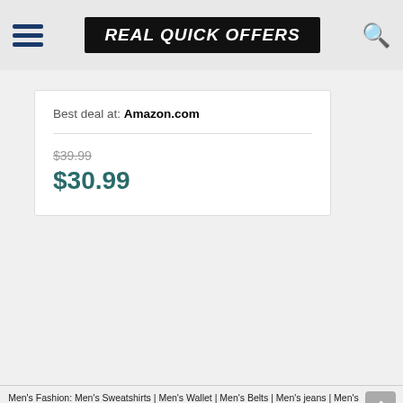REAL QUICK OFFERS
Best deal at: Amazon.com
$39.99
$30.99
Men's Fashion: Men's Sweatshirts | Men's Wallet | Men's Belts | Men's jeans | Men's Sunglasses | Men's Shoes | Men's Cargos | Men's Hats | Men's Hoodies | Men's Clothing | Men's Coats & Jackets
Women's Fashion: Women's Dresses | Women's Jeans | Women's Coats & Jackets | Women's Tops | Women's shirts | Women's Sweaters | Women's Skirt | Women's Trousers and Capri's | Women's Watches | Women's Handbags